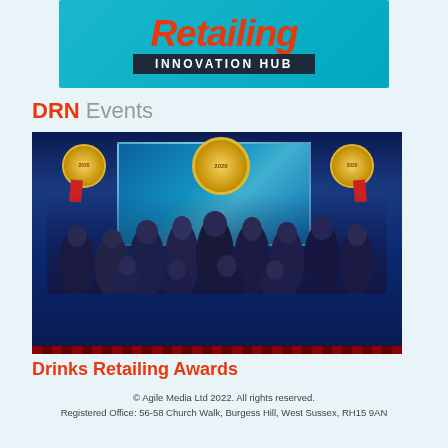[Figure (logo): Drinks Retailing Innovation Hub banner logo with red italic text on teal background and dark subtitle bar]
DRN Events
[Figure (photo): Group photo of award winners at Drinks Retailing Awards 2020 ceremony on stage with blue lighting and award medallion graphics]
Drinks Retailing Awards
© Agile Media Ltd 2022. All rights reserved.
Registered Office: 56-58 Church Walk, Burgess Hill, West Sussex, RH15 9AN